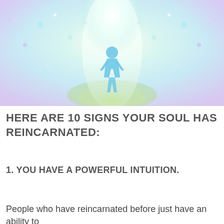[Figure (illustration): A spiritual illustration showing a glowing blue human silhouette standing in a tunnel of white light, surrounded by soft pastel colors including purple, green, and aqua, with bokeh light effects and ethereal trees or clouds in the background.]
HERE ARE 10 SIGNS YOUR SOUL HAS REINCARNATED:
1. YOU HAVE A POWERFUL INTUITION.
People who have reincarnated before just have an ability to